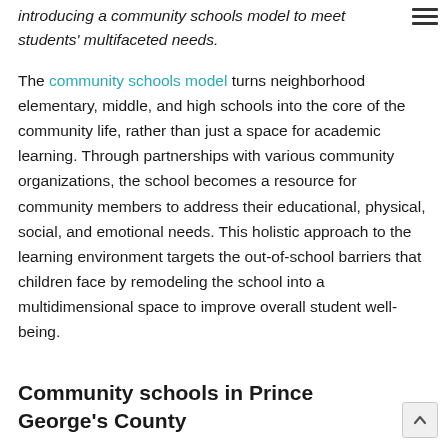introducing a community schools model to meet students' multifaceted needs.
The community schools model turns neighborhood elementary, middle, and high schools into the core of the community life, rather than just a space for academic learning. Through partnerships with various community organizations, the school becomes a resource for community members to address their educational, physical, social, and emotional needs. This holistic approach to the learning environment targets the out-of-school barriers that children face by remodeling the school into a multidimensional space to improve overall student well-being.
Community schools in Prince George's County